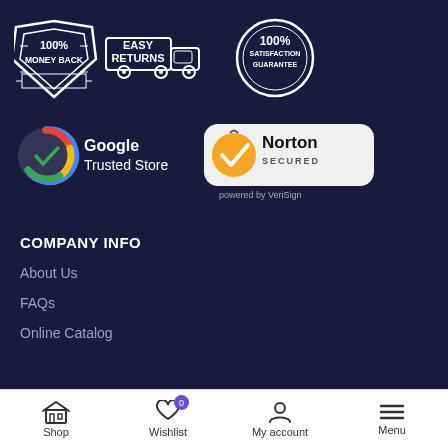[Figure (infographic): Three trust badges: 100% Money Back, Easy Returns (with truck), 100% Satisfaction Guarantee]
[Figure (infographic): Google Trusted Store badge and Norton Secured powered by VeriSign badge]
COMPANY INFO
About Us
FAQs
Online Catalog
Shop  Wishlist 0  My account  Menu